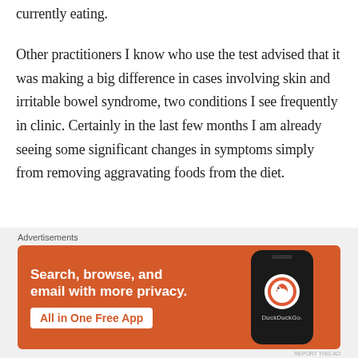currently eating.
Other practitioners I know who use the test advised that it was making a big difference in cases involving skin and irritable bowel syndrome, two conditions I see frequently in clinic. Certainly in the last few months I am already seeing some significant changes in symptoms simply from removing aggravating foods from the diet.
[Figure (other): DuckDuckGo advertisement banner with orange background. Text reads: Search, browse, and email with more privacy. All in One Free App. Shows a dark smartphone with the DuckDuckGo logo.]